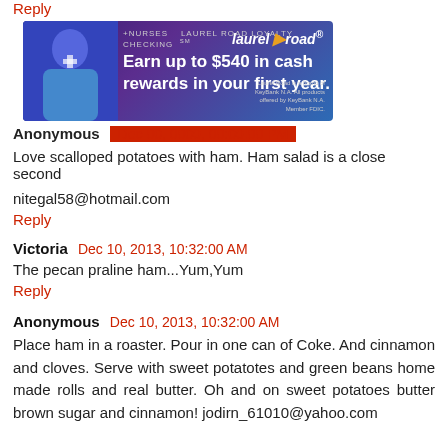Reply
[Figure (other): Laurel Road Loyalty Checking advertisement banner: '+NURSES LAUREL ROAD LOYALTY CHECKING SM — Earn up to $540 in cash rewards in your first year. laurel road logo. Laurel Road is a brand of KeyBank N.A. All products offered by KeyBank N.A. Member FDIC.']
Anonymous  [date redacted/obscured]
Love scalloped potatoes with ham. Ham salad is a close second
nitegal58@hotmail.com
Reply
Victoria  Dec 10, 2013, 10:32:00 AM
The pecan praline ham...Yum,Yum
Reply
Anonymous  Dec 10, 2013, 10:32:00 AM
Place ham in a roaster. Pour in one can of Coke. And cinnamon and cloves. Serve with sweet potatotes and green beans home made rolls and real butter. Oh and on sweet potatoes butter brown sugar and cinnamon! jodirn_61010@yahoo.com